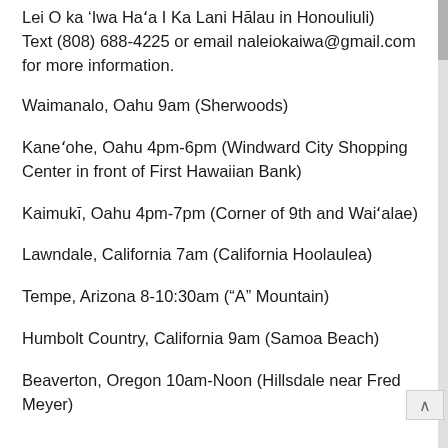Lei O ka ‘Iwa Haʻa I Ka Lani Hālau in Honouliuli)
Text (808) 688-4225 or email naleiokaiwa@gmail.com
for more information.
Waimanalo, Oahu 9am (Sherwoods)
Kaneʻohe, Oahu 4pm-6pm (Windward City Shopping Center in front of First Hawaiian Bank)
Kaimukī, Oahu 4pm-7pm (Corner of 9th and Waiʻalae)
Lawndale, California 7am (California Hoolaulea)
Tempe, Arizona 8-10:30am (“A” Mountain)
Humbolt Country, California 9am (Samoa Beach)
Beaverton, Oregon 10am-Noon (Hillsdale near Fred Meyer)